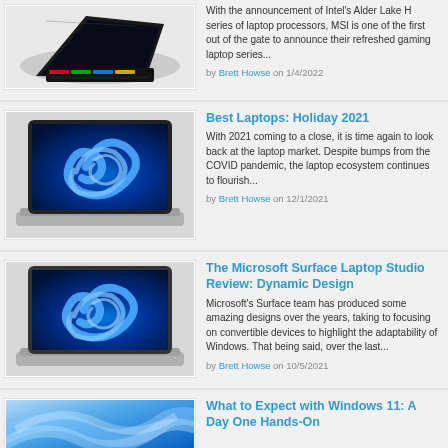[Figure (photo): Gaming laptop (dark, angled, RGB keyboard) on white background]
With the announcement of Intel's Alder Lake H series of laptop processors, MSI is one of the first out of the gate to announce their refreshed gaming laptop series...
by Brett Howse on 1/4/2022
Best Laptops: Holiday 2021
[Figure (photo): Laptop with Windows 11 wallpaper (blue swirl) on white/silver body]
With 2021 coming to a close, it is time again to look back at the laptop market. Despite bumps from the COVID pandemic, the laptop ecosystem continues to flourish...
by Brett Howse on 12/1/2021
The Microsoft Surface Laptop Studio Review: Dynamic Design
[Figure (photo): Laptop with Windows 11 wallpaper (blue swirl) on silver body]
Microsoft's Surface team has produced some amazing designs over the years, taking to focusing on convertible devices to highlight the adaptability of Windows. That being said, over the last...
by Brett Howse on 10/5/2021
What to Expect with Windows 11: A Day One Hands-On
[Figure (photo): Windows 11 wallpaper (blue wave/swirl) partial view]